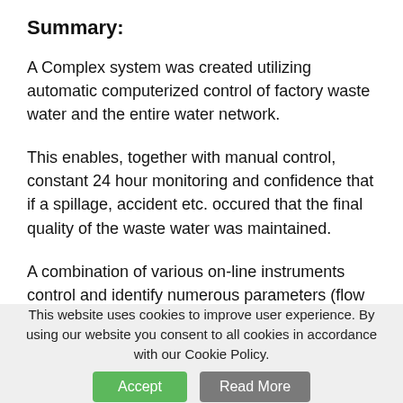Summary:
A Complex system was created utilizing automatic computerized control of factory waste water and the entire water network.
This enables, together with manual control, constant 24 hour monitoring and confidence that if a spillage, accident etc. occured that the final quality of the waste water was maintained.
A combination of various on-line instruments control and identify numerous parameters (flow rate, pH, temperature,
This website uses cookies to improve user experience. By using our website you consent to all cookies in accordance with our Cookie Policy.